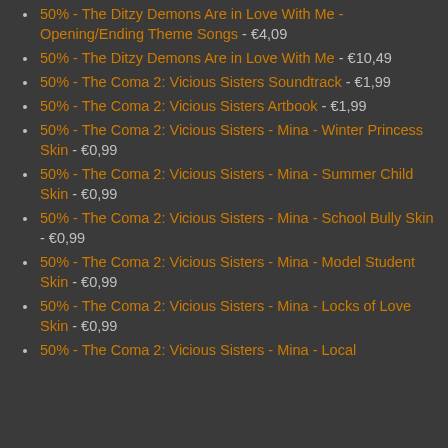50% - The Ditzy Demons Are in Love With Me - Opening/Ending Theme Songs - €4,09
50% - The Ditzy Demons Are in Love With Me - €10,49
50% - The Coma 2: Vicious Sisters Soundtrack - €1,99
50% - The Coma 2: Vicious Sisters Artbook - €1,99
50% - The Coma 2: Vicious Sisters - Mina - Winter Princess Skin - €0,99
50% - The Coma 2: Vicious Sisters - Mina - Summer Child Skin - €0,99
50% - The Coma 2: Vicious Sisters - Mina - School Bully Skin - €0,99
50% - The Coma 2: Vicious Sisters - Mina - Model Student Skin - €0,99
50% - The Coma 2: Vicious Sisters - Mina - Locks of Love Skin - €0,99
50% - The Coma 2: Vicious Sisters - Mina - Local